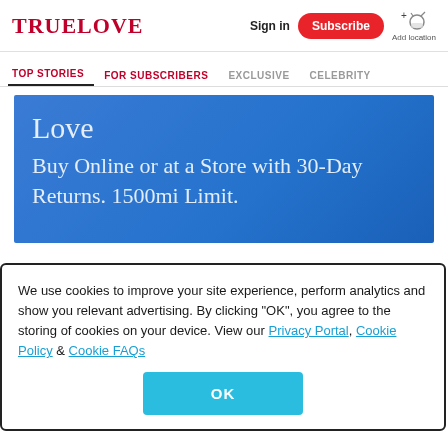TRUELOVE
Sign in  Subscribe  Add location
TOP STORIES  FOR SUBSCRIBERS  EXCLUSIVE  CELEBRITY
[Figure (other): Blue advertisement banner with text: Love / Buy Online or at a Store with 30-Day Returns. 1500mi Limit.]
We use cookies to improve your site experience, perform analytics and show you relevant advertising. By clicking "OK", you agree to the storing of cookies on your device. View our Privacy Portal, Cookie Policy & Cookie FAQs
OK